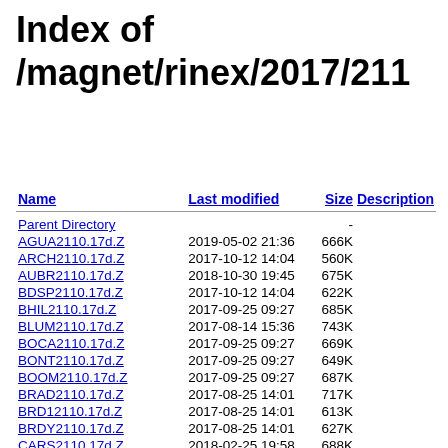Index of /magnet/rinex/2017/211
| Name | Last modified | Size | Description |
| --- | --- | --- | --- |
| Parent Directory |  | - |  |
| AGUA2110.17d.Z | 2019-05-02 21:36 | 666K |  |
| ARCH2110.17d.Z | 2017-10-12 14:04 | 560K |  |
| AUBR2110.17d.Z | 2018-10-30 19:45 | 675K |  |
| BDSP2110.17d.Z | 2017-10-12 14:04 | 622K |  |
| BHIL2110.17d.Z | 2017-09-25 09:27 | 685K |  |
| BLUM2110.17d.Z | 2017-08-14 15:36 | 743K |  |
| BOCA2110.17d.Z | 2017-09-25 09:27 | 669K |  |
| BONT2110.17d.Z | 2017-09-25 09:27 | 649K |  |
| BOOM2110.17d.Z | 2017-09-25 09:27 | 687K |  |
| BRAD2110.17d.Z | 2017-08-25 14:01 | 717K |  |
| BRD12110.17d.Z | 2017-08-25 14:01 | 613K |  |
| BRDY2110.17d.Z | 2017-08-25 14:01 | 627K |  |
| CARS2110.17d.Z | 2018-02-25 19:58 | 688K |  |